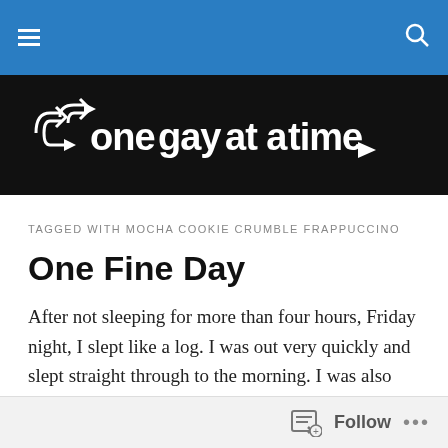Navigation bar with hamburger menu and search icon
[Figure (logo): One Gay at a Time blog logo — white text and cycling arrows on black background]
TAGGED WITH MOCHA COOKIE CRUMBLE FRAPPUCCINO
One Fine Day
After not sleeping for more than four hours, Friday night, I slept like a log. I was out very quickly and slept straight through to the morning. I was also starving. After not having a full meal the night before, I was feeling ravenous.
Follow